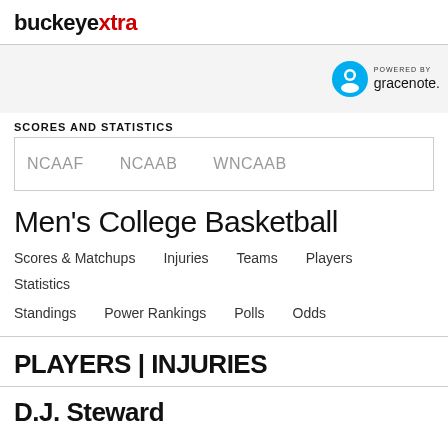buckeyextra
[Figure (logo): Gracenote powered by logo with blue circle icon]
SCORES AND STATISTICS
NCAAF   NCAAB   WNCAAB
Men's College Basketball
Scores & Matchups   Injuries   Teams   Players   Statistics
Standings   Power Rankings   Polls   Odds
PLAYERS | INJURIES
D.J. Steward